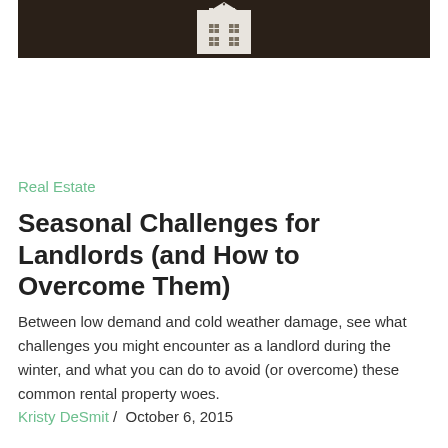[Figure (photo): Black and white photo of a small white house/building cutout against a dark brown background, showing the upper portion of a house shape with windows visible]
Real Estate
Seasonal Challenges for Landlords (and How to Overcome Them)
Between low demand and cold weather damage, see what challenges you might encounter as a landlord during the winter, and what you can do to avoid (or overcome) these common rental property woes.
Kristy DeSmit /  October 6, 2015